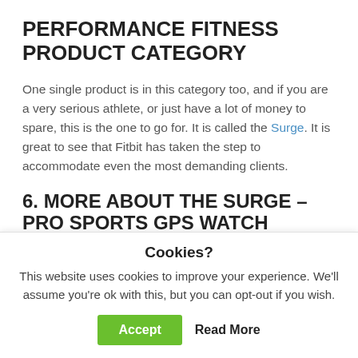PERFORMANCE FITNESS PRODUCT CATEGORY
One single product is in this category too, and if you are a very serious athlete, or just have a lot of money to spare, this is the one to go for. It is called the Surge. It is great to see that Fitbit has taken the step to accommodate even the most demanding clients.
6. MORE ABOUT THE SURGE – PRO SPORTS GPS WATCH
The last activity tracker is the best in class and is purely
Cookies?
This website uses cookies to improve your experience. We'll assume you're ok with this, but you can opt-out if you wish.
Accept   Read More